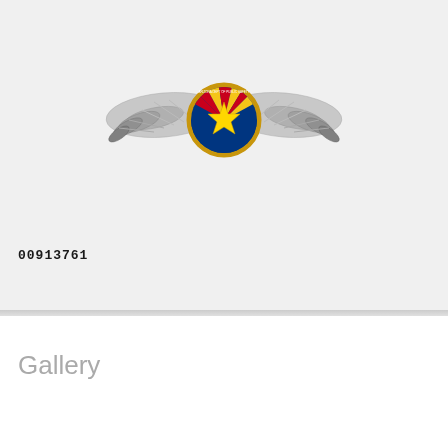[Figure (logo): Arizona Department of Public Safety aviation wings emblem — stylized military-style wings with an Arizona state flag-themed center medallion featuring a star, gold ring, and red/yellow/blue colors]
00913761
Gallery